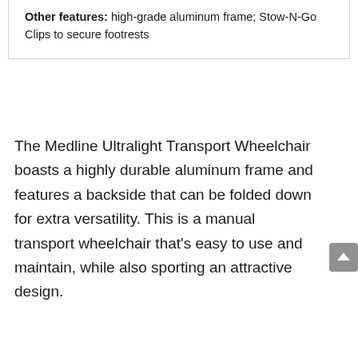Other features: high-grade aluminum frame; Stow-N-Go Clips to secure footrests
The Medline Ultralight Transport Wheelchair boasts a highly durable aluminum frame and features a backside that can be folded down for extra versatility. This is a manual transport wheelchair that’s easy to use and maintain, while also sporting an attractive design.